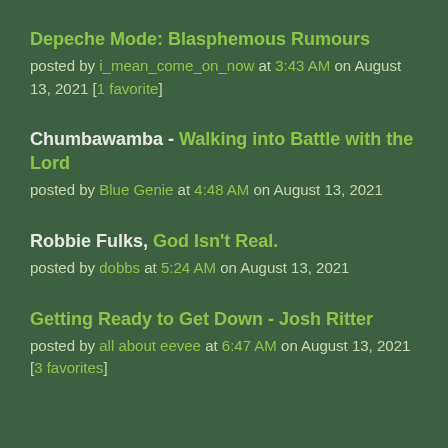Depeche Mode: Blasphemous Rumours
posted by i_mean_come_on_now at 3:43 AM on August 13, 2021 [1 favorite]
Chumbawamba - Walking into Battle with the Lord
posted by Blue Genie at 4:48 AM on August 13, 2021
Robbie Fulks, God Isn't Real.
posted by dobbs at 5:24 AM on August 13, 2021
Getting Ready to Get Down - Josh Ritter
posted by all about eevee at 6:47 AM on August 13, 2021 [3 favorites]